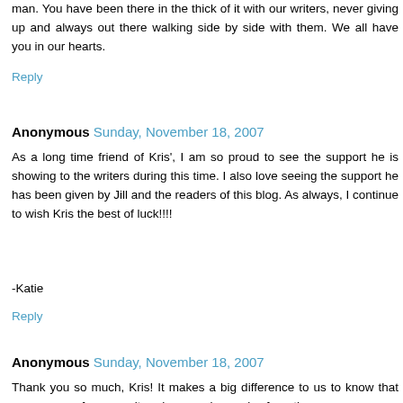man. You have been there in the thick of it with our writers, never giving up and always out there walking side by side with them. We all have you in our hearts.
Reply
Anonymous Sunday, November 18, 2007
As a long time friend of Kris', I am so proud to see the support he is showing to the writers during this time. I also love seeing the support he has been given by Jill and the readers of this blog. As always, I continue to wish Kris the best of luck!!!!
-Katie
Reply
Anonymous Sunday, November 18, 2007
Thank you so much, Kris! It makes a big difference to us to know that our concern for our writers has a voice and a face they can see every day -- and I'm so glad it's yours!